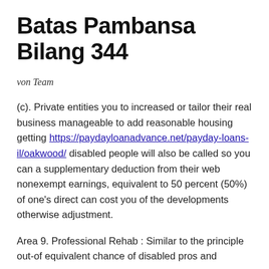Batas Pambansa Bilang 344
von Team
(c). Private entities you to increased or tailor their real business manageable to add reasonable housing getting https://paydayloanadvance.net/payday-loans-il/oakwood/ disabled people will also be called so you can a supplementary deduction from their web nonexempt earnings, equivalent to 50 percent (50%) of one’s direct can cost you of the developments otherwise adjustment.
Area 9. Professional Rehab : Similar to the principle out-of equivalent chance of disabled pros and